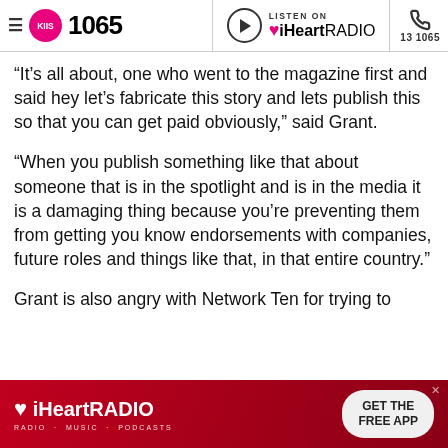KIIS 1065 | LISTEN ON iHeartRADIO | 13 1065
“It’s all about, one who went to the magazine first and said hey let’s fabricate this story and lets publish this so that you can get paid obviously,” said Grant.
“When you publish something like that about someone that is in the spotlight and is in the media it is a damaging thing because you’re preventing them from getting you know endorsements with companies, future roles and things like that, in that entire country.”
Grant is also angry with Network Ten for trying to
[Figure (logo): iHeartRADIO advertisement banner with GET THE FREE APP button]